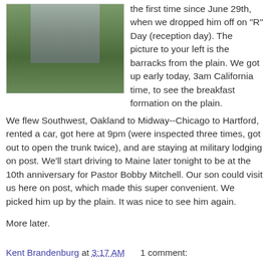[Figure (photo): Stone barracks building at West Point with green lawn and trees in foreground]
the first time since June 29th, when we dropped him off on "R" Day (reception day). The picture to your left is the barracks from the plain. We got up early today, 3am California time, to see the breakfast formation on the plain.
We flew Southwest, Oakland to Midway--Chicago to Hartford, rented a car, got here at 9pm (were inspected three times, got out to open the trunk twice), and are staying at military lodging on post. We'll start driving to Maine later tonight to be at the 10th anniversary for Pastor Bobby Mitchell. Our son could visit us here on post, which made this super convenient. We picked him up by the plain. It was nice to see him again.
More later.
Kent Brandenburg at 3:17 AM    1 comment: